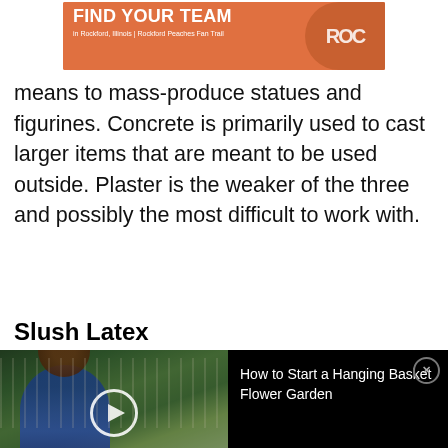[Figure (other): Advertisement banner: FIND YOUR TEAM in Rockford, Illinois | Rockford Peaches Fan Trail, orange background with person and circular logo]
means to mass-produce statues and figurines. Concrete is primarily used to cast larger items that are meant to be used outside. Plaster is the weaker of the three and possibly the most difficult to work with.
Slush Latex
[Figure (other): Video thumbnail showing a woman in a blue dress in an outdoor garden setting, with a play button overlay]
[Figure (other): Video info panel on black background: How to Start a Hanging Basket Flower Garden, with close button]
heads using plaster and a wide array of other materials. Once the plaster cast is made the slush